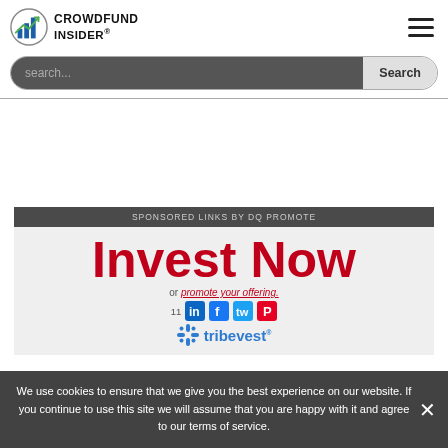[Figure (logo): Crowdfund Insider logo — circular icon with bar chart and CROWDFUND INSIDER text]
[Figure (screenshot): Search bar with dark background input and Search button]
SPONSORED LINKS BY DQ PROMOTE
Invest Now
or promote your offering.
11
[Figure (logo): Tribevest logo with snowflake icon and tribevest text]
We use cookies to ensure that we give you the best experience on our website. If you continue to use this site we will assume that you are happy with it and agree to our terms of service.